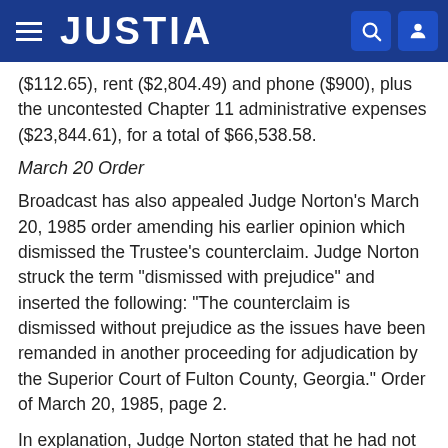JUSTIA
($112.65), rent ($2,804.49) and phone ($900), plus the uncontested Chapter 11 administrative expenses ($23,844.61), for a total of $66,538.58.
March 20 Order
Broadcast has also appealed Judge Norton's March 20, 1985 order amending his earlier opinion which dismissed the Trustee's counterclaim. Judge Norton struck the term "dismissed with prejudice" and inserted the following: "The counterclaim is dismissed without prejudice as the issues have been remanded in another proceeding for adjudication by the Superior Court of Fulton County, Georgia." Order of March 20, 1985, page 2.
In explanation, Judge Norton stated that he had not intended to dismiss the counterclaim with prejudice in